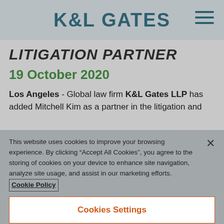K&L GATES
LITIGATION PARTNER
19 October 2020
Los Angeles - Global law firm K&L Gates LLP has added Mitchell Kim as a partner in the litigation and
This website uses cookies to improve your browsing experience. By clicking "Accept All Cookies", you agree to the storing of cookies on your device to enhance site navigation, analyze site usage, and assist in our marketing efforts. Cookie Policy
Cookies Settings
Reject Cookies